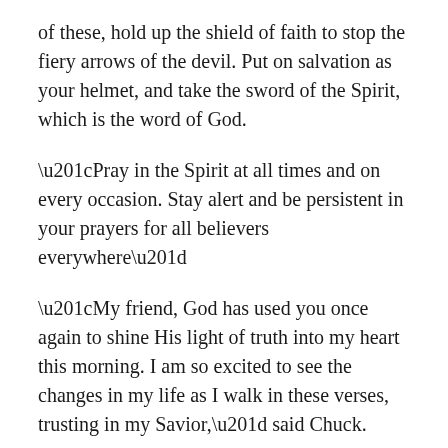of these, hold up the shield of faith to stop the fiery arrows of the devil. Put on salvation as your helmet, and take the sword of the Spirit, which is the word of God.
“Pray in the Spirit at all times and on every occasion. Stay alert and be persistent in your prayers for all believers everywhere”
“My friend, God has used you once again to shine His light of truth into my heart this morning. I am so excited to see the changes in my life as I walk in these verses, trusting in my Savior,” said Chuck.
“Praise God, Chuck. I love how God speaks to us through our fellowship. I like to visualize myself putting on the armor of God each morning. The more I take a few minutes walking through the steps outlined in